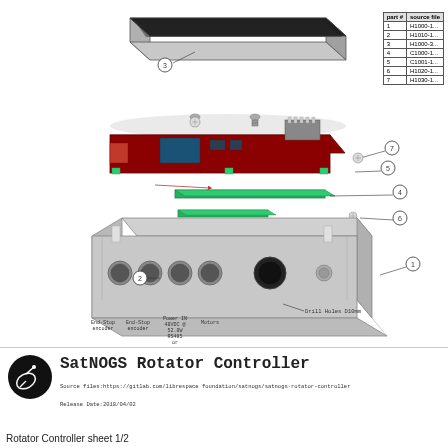[Figure (engineering-diagram): Exploded view engineering diagram of SatNOGS Rotator Controller assembly showing numbered parts: (1) metal enclosure box, (2) cable glands/connectors on left side, (3) lid/cover panel on top, (4) green PCB spacers/standoffs, (5) screws, (6) green component, (7) screw. Red PCB circuit board visible in middle layer. Annotation text reads: Use two sides adhesive tape to mount the assembly of (4),(5),(6),(7) to (1). Connector labels below: End-Stop encoder, End-Stop encoder, Power IN 48VDC @ 52.8W RS485 or UART, Motors. Drill Holes D10mm label with line pointing to enclosure.]
| part # | source file |
| --- | --- |
| 1 | H1000-1... |
| 2 | H1010-1... |
| 3 | H1000-3... |
| 4 | C1000-1... |
| 5 | C1001-1... |
| 6 | H1020-1... |
| 7 | H1030-1... |
[Figure (logo): SatNOGS circular logo - black circle with satellite dish icon]
SatNOGS Rotator Controller
Source files:https://gitlab.com/librespace foundation/satnogs/satnogs-rotator-controller
Release Date:2018/04/02
Rotator Controller sheet 1/2